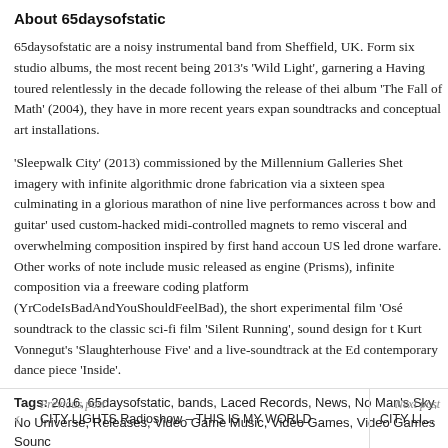About 65daysofstatic
65daysofstatic are a noisy instrumental band from Sheffield, UK. Form six studio albums, the most recent being 2013’s ‘Wild Light’, garnering a Having toured relentlessly in the decade following the release of thei album ‘The Fall of Math’ (2004), they have in more recent years expan soundtracks and conceptual art installations.
‘Sleepwalk City’ (2013) commissioned by the Millennium Galleries Shet imagery with infinite algorithmic drone fabrication via a sixteen spea culminating in a glorious marathon of nine live performances across t bow and guitar’ used custom-hacked midi-controlled magnets to remo visceral and overwhelming composition inspired by first hand accoun US led drone warfare. Other works of note include music released as engine (Prisms), infinite composition via a freeware coding platform (YrCodeIsBadAndYouShouldFeelBad), the short experimental film ‘Ose soundtrack to the classic sci-fi film ‘Silent Running’, sound design for t Kurt Vonnegut’s ‘Slaughterhouse Five’ and a live-soundtrack at the Ed contemporary dance piece ‘Inside’.
Tags: 2016, 65daysofstatic, bands, Laced Records, News, No Man’s Sky, No Universe, Releases, Video Game Music, Video Games, Video Games Sounc
Previous post
CITY LIGHTS Radioshow – THIS IS MY WORLD | CITY LIGHTS Rad